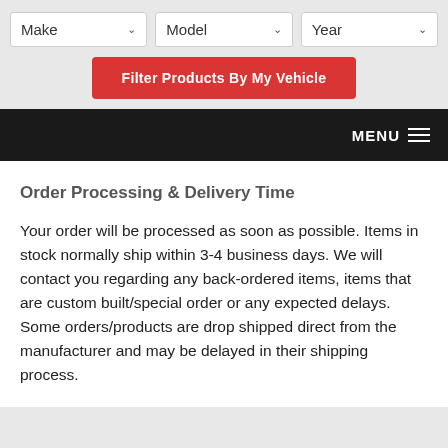[Figure (screenshot): Vehicle filter dropdown UI with Make, Model, and Year dropdown boxes]
[Figure (screenshot): Red button labeled 'Filter Products By My Vehicle']
[Figure (screenshot): Dark navigation bar with MENU label and hamburger icon on the right]
Order Processing & Delivery Time
Your order will be processed as soon as possible. Items in stock normally ship within 3-4 business days. We will contact you regarding any back-ordered items, items that are custom built/special order or any expected delays. Some orders/products are drop shipped direct from the manufacturer and may be delayed in their shipping process.